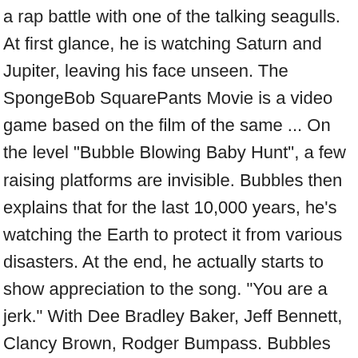a rap battle with one of the talking seagulls. At first glance, he is watching Saturn and Jupiter, leaving his face unseen. The SpongeBob SquarePants Movie is a video game based on the film of the same ... On the level "Bubble Blowing Baby Hunt", a few raising platforms are invisible. Bubbles then explains that for the last 10,000 years, he's watching the Earth to protect it from various disasters. At the end, he actually starts to show appreciation to the song. "You are a jerk." With Dee Bradley Baker, Jeff Bennett, Clancy Brown, Rodger Bumpass. Bubbles then explains that he wanted to get out of his dead-end nowhere job, saying he didn't have the courage to do it himself. The gas giants then collide with each other as chunks of both planets make their way through the triangular 'window.' Bubbles the Magic Dolphin gives them this power in the film,